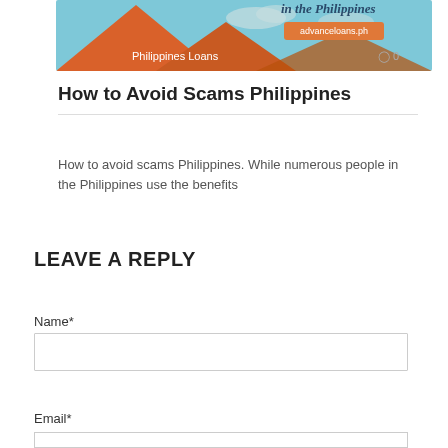[Figure (illustration): Blog post thumbnail showing a stylized Philippine landscape with orange volcano/mountain shapes, clouds, text 'in the Philippines', an orange button labeled 'advanceloans.ph', 'Philippines Loans' label at bottom left, and a comment icon with '0' at bottom right.]
How to Avoid Scams Philippines
How to avoid scams Philippines. While numerous people in the Philippines use the benefits
LEAVE A REPLY
Name*
Email*